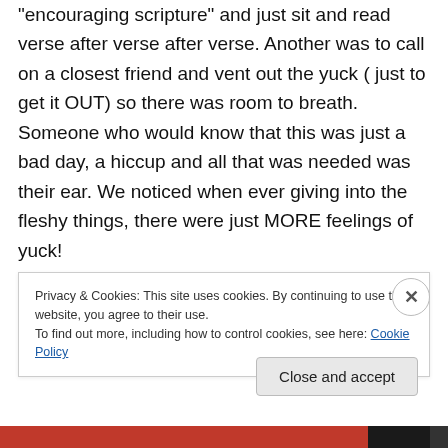“encouraging scripture” and just sit and read verse after verse after verse. Another was to call on a closest friend and vent out the yuck ( just to get it OUT) so there was room to breath. Someone who would know that this was just a bad day, a hiccup and all that was needed was their ear. We noticed when ever giving into the fleshy things, there were just MORE feelings of yuck!
Can we be either of yours or Tara’s ear? Can we
Privacy & Cookies: This site uses cookies. By continuing to use this website, you agree to their use.
To find out more, including how to control cookies, see here: Cookie Policy
Close and accept